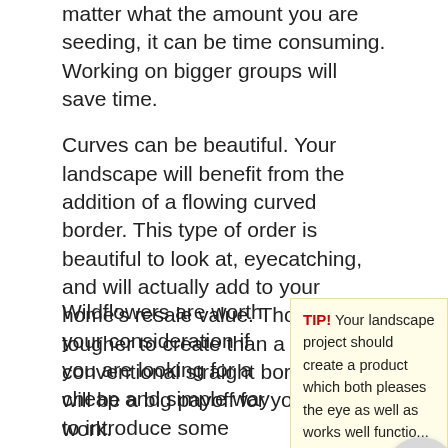matter what the amount you are seeding, it can be time consuming. Working on bigger groups will save time.
Curves can be beautiful. Your landscape will benefit from the addition of a flowing curved border. This type of order is beautiful to look at, eyecatching, and will actually add to your home’s resale value. Though tougher to create than a conventional straight border, there will be a big payoff for your hard work.
Wildflowers are worth your consideration if you are looking for a cheap and simple way to introduce some vibrant colors to your landscaping project. You can purchase wildflower seeds at home improvement stores then scatter them over a large area or where
TIP! Your landscape project should create a product which both pleases the eye as well as works well functio... For example, even most beautifully